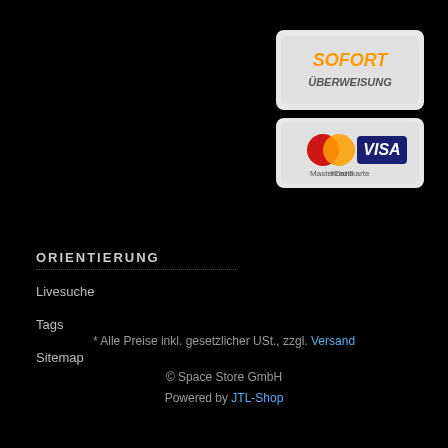[Figure (logo): Sofort Überweisung payment badge - grey rounded rectangle with orange italic text SOFORT and grey text ÜBERWEISUNG]
[Figure (logo): MasterCard and VISA credit card payment badge - grey rounded rectangle with MasterCard logo (red/yellow circles) and VISA logo (blue), labeled Kreditkarte]
ORIENTIERUNG
Livesuche
Tags
Sitemap
* Alle Preise inkl. gesetzlicher USt., zzgl. Versand
© Space Store GmbH
Powered by JTL-Shop